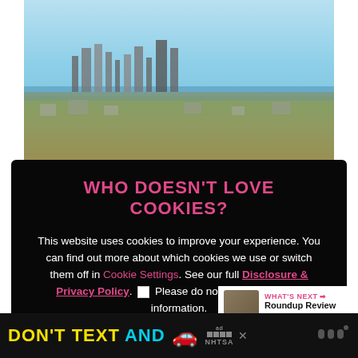[Figure (photo): Aerial cityscape photo showing a dense urban area with skyline and waterway in the background]
WHO DOESN'T LOVE COOKIES?
This website uses cookies to improve your experience. You can find out more about which cookies we use or switch them off in Cookie Settings. See our full Disclosure & Privacy Policy. ☐ Please do not sell my personal information.
[Figure (photo): Blurred photo of architectural spires against blue sky]
DON'T TEXT AND [car emoji] ad NHTSA [logo]